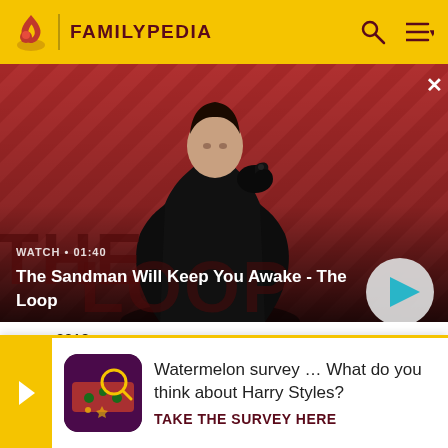FAMILYPEDIA
[Figure (screenshot): Hero banner for video: The Sandman Will Keep You Awake - The Loop. Shows a dark-clothed figure with a raven on a red/pink diagonal-striped background. Label shows WATCH • 01:40. Play button visible bottom right.]
2018.
22. ^ "European countries". Ministry of Foreign Affairs o...
[Figure (infographic): Ad banner: Watermelon survey image on left, text 'Watermelon survey … What do you think about Harry Styles? TAKE THE SURVEY HERE']